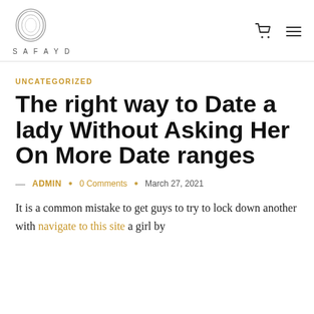SAFAYD
UNCATEGORIZED
The right way to Date a lady Without Asking Her On More Date ranges
— ADMIN • 0 Comments • March 27, 2021
It is a common mistake to get guys to try to lock down another with navigate to this site a girl by